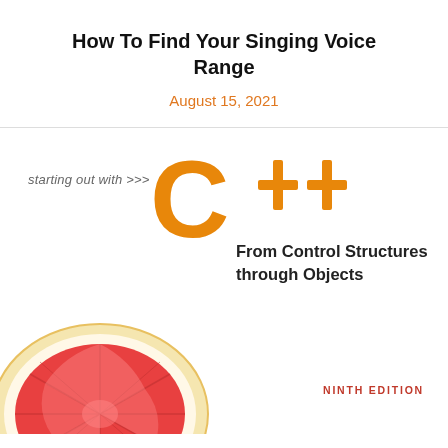How To Find Your Singing Voice Range
August 15, 2021
[Figure (photo): Book cover of 'Starting Out with C++: From Control Structures through Objects, Ninth Edition' featuring an orange C++ logo with plus signs, bold subtitle text, and a half grapefruit image at the bottom.]